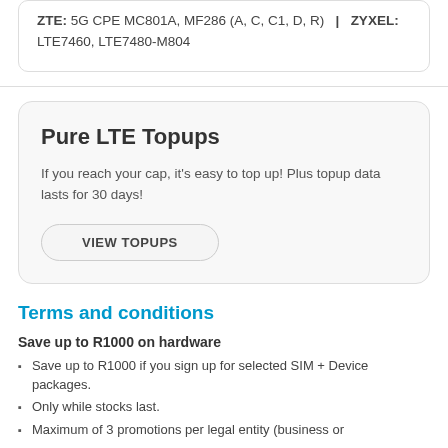ZTE: 5G CPE MC801A, MF286 (A, C, C1, D, R)  |  ZYXEL: LTE7460, LTE7480-M804
Pure LTE Topups
If you reach your cap, it's easy to top up! Plus topup data lasts for 30 days!
VIEW TOPUPS
Terms and conditions
Save up to R1000 on hardware
Save up to R1000 if you sign up for selected SIM + Device packages.
Only while stocks last.
Maximum of 3 promotions per legal entity (business or